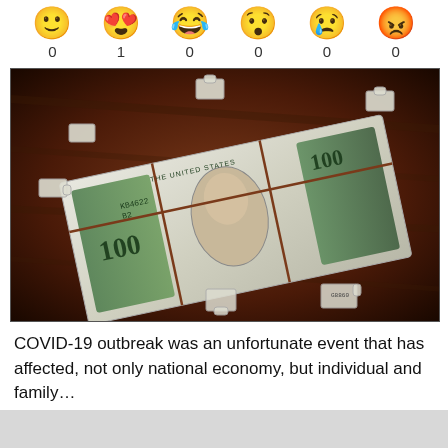[Figure (infographic): Six emoji reaction icons (smiley, heart-eyes, laughing, shocked, crying, angry) each with a count below: 0, 1, 0, 0, 0, 0]
[Figure (photo): A $100 US dollar bill broken into puzzle pieces scattered on a dark wooden surface, symbolizing a fragmented economy.]
COVID-19 outbreak was an unfortunate event that has affected, not only national economy, but individual and family...